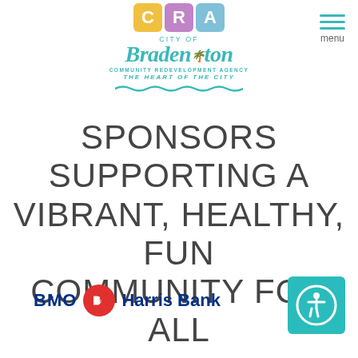[Figure (logo): City of Bradenton Community Redevelopment Agency - The Heart of the City logo with CRA colored blocks and teal text]
[Figure (other): Hamburger menu icon with teal lines and 'menu' label]
SPONSORS SUPPORTING A VIBRANT, HEALTHY, FUN COMMUNITY FOR ALL
[Figure (logo): BMO Harris Bank logo with blue text and red circle icon]
[Figure (other): Teal accessibility icon button (wheelchair person in circle)]